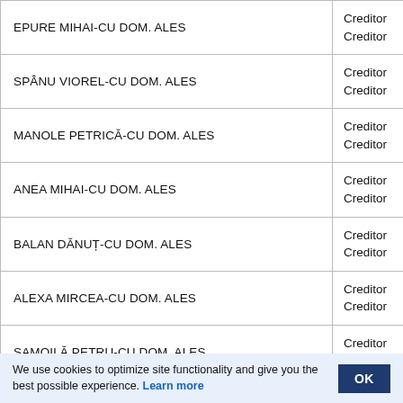| Name | Status |
| --- | --- |
| EPURE MIHAI-CU DOM. ALES | Creditor
Creditor |
| SPÂNU VIOREL-CU DOM. ALES | Creditor
Creditor |
| MANOLE PETRICĂ-CU DOM. ALES | Creditor
Creditor |
| ANEA MIHAI-CU DOM. ALES | Creditor
Creditor |
| BALAN DĂNUȚ-CU DOM. ALES | Creditor
Creditor |
| ALEXA MIRCEA-CU DOM. ALES | Creditor
Creditor |
| SAMOILĂ PETRU-CU DOM. ALES | Creditor
Creditor |
| IONIȚĂ CLAUDIU-CU DOM. ALES | Creditor
Creditor |
| VALEANU COSTEL-CU DOM. ALES | Creditor
Creditor |
We use cookies to optimize site functionality and give you the best possible experience. Learn more